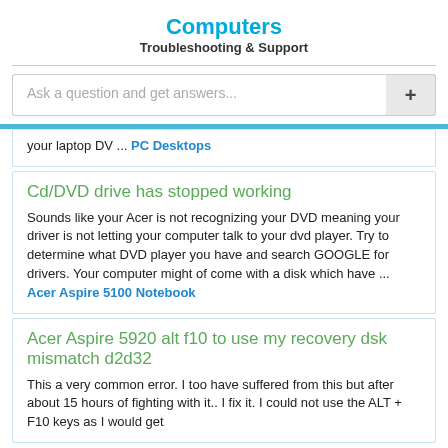Computers
Troubleshooting & Support
Ask a question and get answers...
your laptop DV ... PC Desktops
Cd/DVD drive has stopped working
Sounds like your Acer is not recognizing your DVD meaning your driver is not letting your computer talk to your dvd player. Try to determine what DVD player you have and search GOOGLE for drivers. Your computer might of come with a disk which have ... Acer Aspire 5100 Notebook
Acer Aspire 5920 alt f10 to use my recovery dsk mismatch d2d32
This a very common error. I too have suffered from this but after about 15 hours of fighting with it.. I fix it. I could not use the ALT + F10 keys as I would get